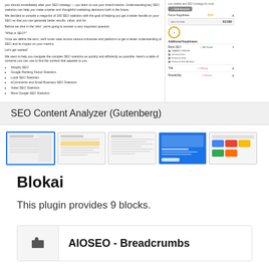you should immediately alter your SEO strategy — you learn to use your brand metrics. Understanding key SEO statistics can help you make smarter and thoughtful marketing decisions both in the future.

We decided to compile a mega-list of 100 SEO statistics with the goal of helping you get a better handle on your SEO so that you can generate better results, value, and for.

Before we dive in the 'who', we're going to answer a very important question:

"What is SEO?"

Once we define the term, we'll cover stats across various industries and platforms to get a better understanding of SEO and its impact on your metrics.

Let's get started!

We want to help you navigate the complex SEO statistics as quickly and efficiently as possible. Here's a table of contents you can use to find the content that appeals to you.

• Shopify SEO
• Google Ranking Factor Statistics
• Local SEO Statistics
• eCommerce and Small Business SEO Statistics
• Video SEO Statistics
• More Google SEO Statistics
Edit Account
Focus Keyphrase 0000
SEO SCORE 61/100
Additional Keyphrases
Basic SEO All Good!
DABMO ONGTH
Internal links
External links
External link dofollow
Title +1 Errors
Readability +2 Errors
SEO Content Analyzer (Gutenberg)
[Figure (screenshot): Five thumbnail screenshots of the SEO Content Analyzer plugin interface, showing various panels and screens]
Blokai
This plugin provides 9 blocks.
[Figure (screenshot): Plugin card showing AIOSEO - Breadcrumbs with a briefcase/tag icon on the left]
AIOSEO - Breadcrumbs